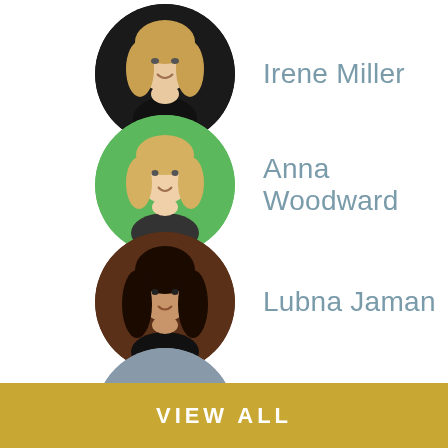[Figure (photo): Circular avatar photo of Irene Miller, woman with blonde hair against dark background]
Irene Miller
[Figure (photo): Circular avatar photo of Anna Woodward, woman with blonde hair against green background]
Anna Woodward
[Figure (photo): Circular avatar photo of Lubna Jaman, woman with dark hair]
Lubna Jaman
[Figure (photo): Circular avatar photo of Orin, person standing on a bridge with city skyline]
Orin
VIEW ALL